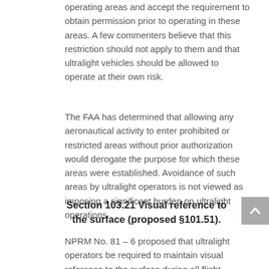operating areas and accept the requirement to obtain permission prior to operating in these areas. A few commenters believe that this restriction should not apply to them and that ultralight vehicles should be allowed to operate at their own risk.
The FAA has determined that allowing any aeronautical activity to enter prohibited or restricted areas without prior authorization would derogate the purpose for which these areas were established. Avoidance of such areas by ultralight operators is not viewed as imposing a significant burden on ultralight operations .
Section 103.21 Visual reference to the surface (proposed §101.51).
NPRM No. 81 – 6 proposed that ultralight operators be required to maintain visual reference to the surface during all flight operations. This would ensure that the operator of an ultralight would have the opportunity to descend and land safely at any time without entering obscuring weather